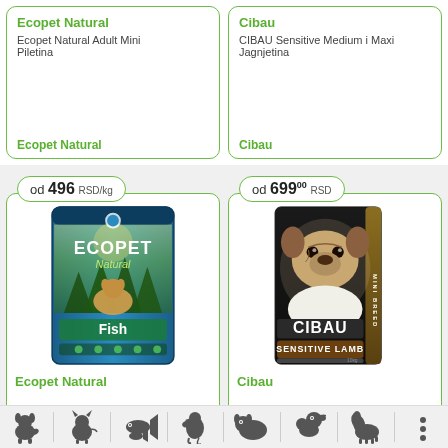Ecopet Natural
Ecopet Natural Adult Mini Piletina
Ecopet Natural
Cibau
CIBAU Sensitive Medium i Maxi Jagnjetina
Cibau
od 496 RSD/kg
[Figure (photo): Ecopet Natural Fish dog food bag with puppy]
Ecopet Natural
od 699°° RSD
[Figure (photo): CIBAU Sensitive Lamb Mini Breed dog food bag with pug]
Cibau
[Figure (infographic): Navigation bar with pet category icons: dog, cat, fish, bird, rodent, reptile, horse, more]